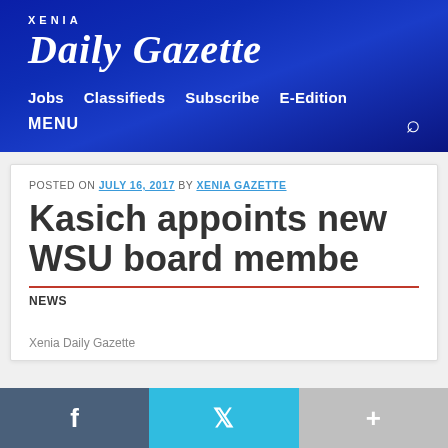XENIA DAILY GAZETTE
Jobs  Classifieds  Subscribe  E-Edition
MENU
POSTED ON JULY 16, 2017 BY XENIA GAZETTE
Kasich appoints new WSU board membe
NEWS